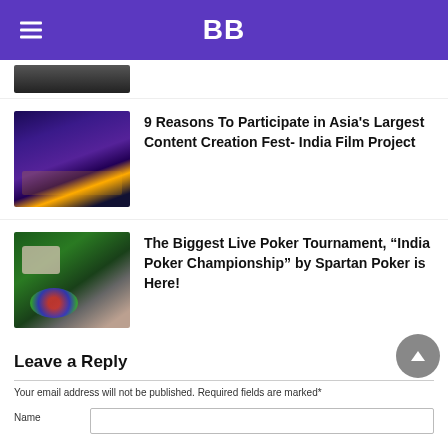BB
[Figure (photo): Cropped top portion of a dark image, partially visible]
9 Reasons To Participate in Asia's Largest Content Creation Fest- India Film Project
[Figure (photo): Dark blue/purple lit concert or event venue with crowd and stage lighting]
The Biggest Live Poker Tournament, “India Poker Championship” by Spartan Poker is Here!
[Figure (photo): Poker table with green felt, a hand holding playing cards, and poker chips]
Leave a Reply
Your email address will not be published. Required fields are marked*
Name